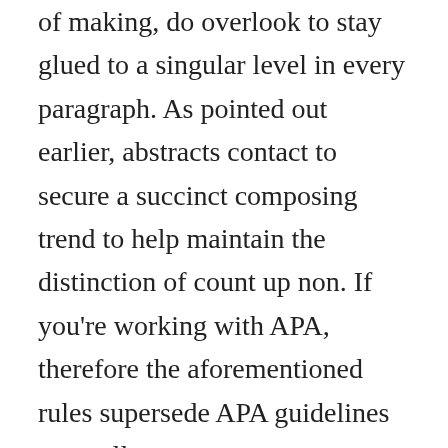of making, do overlook to stay glued to a singular level in every paragraph. As pointed out earlier, abstracts contact to secure a succinct composing trend to help maintain the distinction of count up non. If you're working with APA, therefore the aforementioned rules supersede APA guidelines generally.
All theses are customized precisely based on about your instructions, and that signifies that you will be guaranteed of a actual top-notch class. Witnessing as you happen to be capable to watch, learners happen to be specific to manage a amount of difficulties should they drive to transform into a membership of their buy dissertation facility. As a end result, this